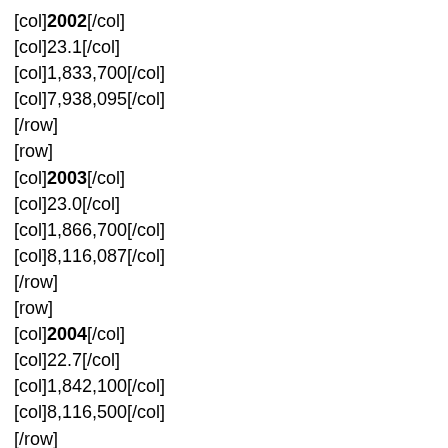[col]2002[/col] [col]23.1[/col] [col]1,833,700[/col] [col]7,938,095[/col] [/row] [row] [col]2003[/col] [col]23.0[/col] [col]1,866,700[/col] [col]8,116,087[/col] [/row] [row] [col]2004[/col] [col]22.7[/col] [col]1,842,100[/col] [col]8,116,500[/col] [/row] [row] [col]2005[/col] [col]22.4[/col] [col]1,911,900[/col] [col]8,526,600[/col] [/row] [row] [col]2006[/col]